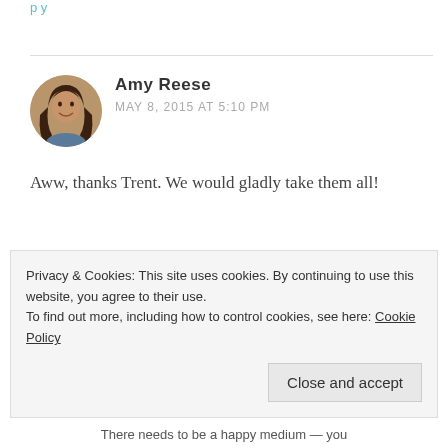Amy Reese
MAY 8, 2015 AT 5:10 PM
Aww, thanks Trent. We would gladly take them all!
★ Liked by 1 person
Reply
Privacy & Cookies: This site uses cookies. By continuing to use this website, you agree to their use.
To find out more, including how to control cookies, see here: Cookie Policy
Close and accept
There needs to be a happy medium — you